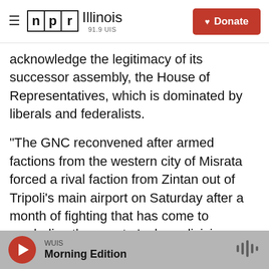NPR Illinois 91.9 UIS | Donate
acknowledge the legitimacy of its successor assembly, the House of Representatives, which is dominated by liberals and federalists.
"The GNC reconvened after armed factions from the western city of Misrata forced a rival faction from Zintan out of Tripoli's main airport on Saturday after a month of fighting that has come to symbolise the country's deep divisions. The Zintanis and Misratis joined forces in 2011 to topple Gaddafi but have now turned their guns on each other to monopolise power and exploit Libya's oil resources.
WUIS Morning Edition